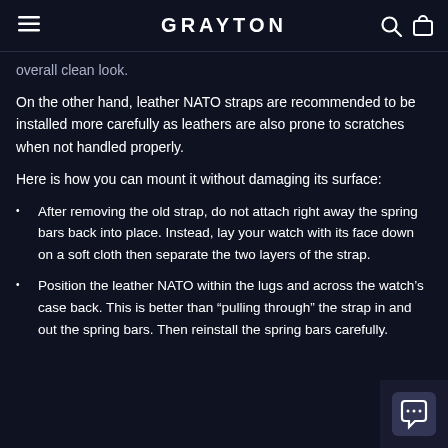GRAYTON
overall clean look.
On the other hand, leather NATO straps are recommended to be installed more carefully as leathers are also prone to scratches when not handled properly.
Here is how you can mount it without damaging its surface:
After removing the old strap, do not attach right away the spring bars back into place. Instead, lay your watch with its face down on a soft cloth then separate the two layers of the strap.
Position the leather NATO within the lugs and across the watch's case back. This is better than “pulling through” the strap in and out the spring bars. Then reinstall the spring bars carefully.